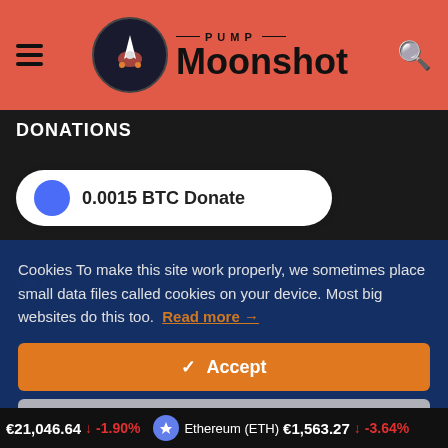PUMP Moonshot
DONATIONS
0.0015 BTC Donate
Cookies To make this site work properly, we sometimes place small data files called cookies on your device. Most big websites do this too. Read more →
✓ Accept
Cookies Settings ⚙
€21,046.64 ↓ -1.90% Ethereum (ETH) €1,563.27 ↓ -3.64%